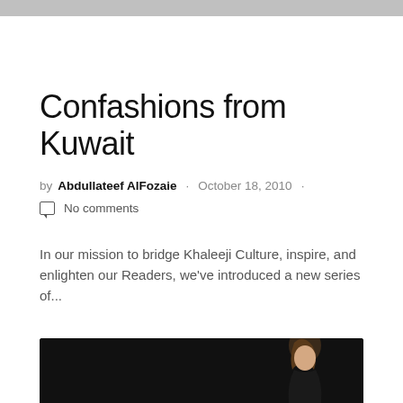Confashions from Kuwait
by Abdullateef AlFozaie · October 18, 2010 ·
No comments
In our mission to bridge Khaleeji Culture, inspire, and enlighten our Readers, we've introduced a new series of...
S — STUDIO
[Figure (photo): Dark background photo strip with a person/model figure visible on the right side]